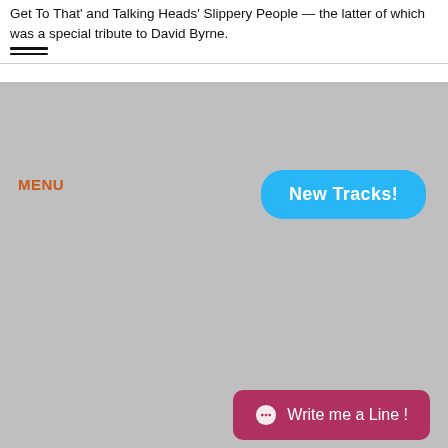Get To That' and Talking Heads' Slippery People — the latter of which was a special tribute to David Byrne.
[Figure (screenshot): Gray content area with orange MENU label top-left, blue rounded 'New Tracks!' button top-right, and pink 'Write me a Line!' button bottom-right]